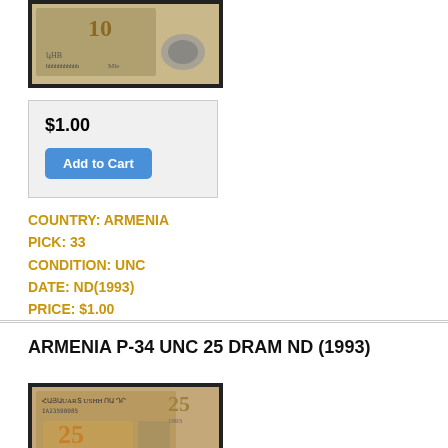[Figure (photo): Image of an Armenian 10 Dram banknote with black border]
$1.00
Add to Cart
COUNTRY: ARMENIA
PICK: 33
CONDITION: UNC
DATE: ND(1993)
PRICE: $1.00
ARMENIA P-34 UNC 25 DRAM ND (1993)
[Figure (photo): Image of an Armenian 25 Dram banknote with black border]